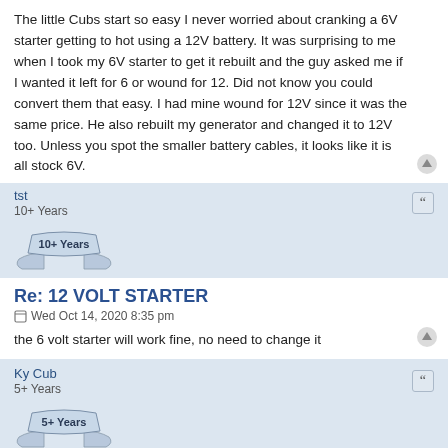The little Cubs start so easy I never worried about cranking a 6V starter getting to hot using a 12V battery. It was surprising to me when I took my 6V starter to get it rebuilt and the guy asked me if I wanted it left for 6 or wound for 12. Did not know you could convert them that easy. I had mine wound for 12V since it was the same price. He also rebuilt my generator and changed it to 12V too. Unless you spot the smaller battery cables, it looks like it is all stock 6V.
tst
10+ Years
[Figure (illustration): Badge ribbon that reads '10+ Years']
Re: 12 VOLT STARTER
Wed Oct 14, 2020 8:35 pm
the 6 volt starter will work fine, no need to change it
Ky Cub
5+ Years
[Figure (illustration): Badge ribbon that reads '5+ Years']
Re: 12 VOLT STARTER
Wed Oct 14, 2020 8:37 pm